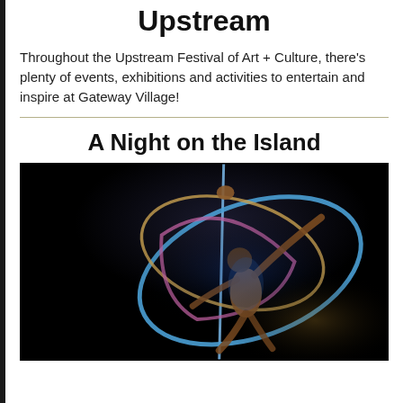Upstream
Throughout the Upstream Festival of Art + Culture, there's plenty of events, exhibitions and activities to entertain and inspire at Gateway Village!
A Night on the Island
[Figure (photo): Aerial performer on a lyra hoop against a dark background, illuminated with blue and gold light, performing acrobatic moves with curved hoops swirling around them.]